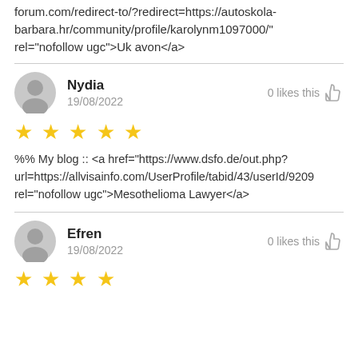forum.com/redirect-to/?redirect=https://autoskola-barbara.hr/community/profile/karolynm1097000/" rel="nofollow ugc">Uk avon</a>
Nydia
19/08/2022
0 likes this
★★★★★
%% My blog :: <a href="https://www.dsfo.de/out.php?url=https://allvisainfo.com/UserProfile/tabid/43/userId/9209 rel="nofollow ugc">Mesothelioma Lawyer</a>
Efren
19/08/2022
0 likes this
★★★★